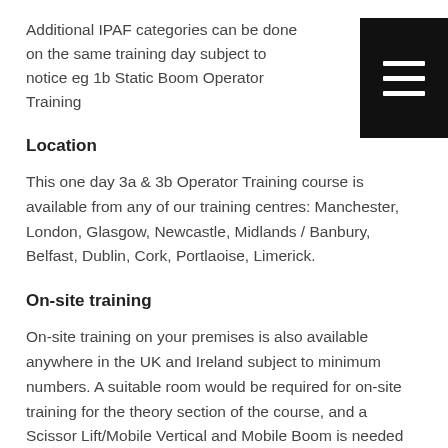Additional IPAF categories can be done on the same training day subject to notice eg 1b Static Boom Operator Training
Location
This one day 3a & 3b Operator Training course is available from any of our training centres: Manchester, London, Glasgow, Newcastle, Midlands / Banbury, Belfast, Dublin, Cork, Portlaoise, Limerick.
On-site training
On-site training on your premises is also available anywhere in the UK and Ireland subject to minimum numbers. A suitable room would be required for on-site training for the theory section of the course, and a Scissor Lift/Mobile Vertical and Mobile Boom is needed for the practical. The Operator's Manual and a copy of the current 6 monthly Certificate of Thorough